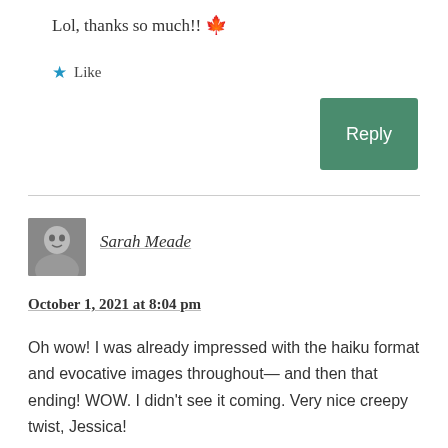Lol, thanks so much!! 🍁
★ Like
Reply
Sarah Meade
October 1, 2021 at 8:04 pm
Oh wow! I was already impressed with the haiku format and evocative images throughout— and then that ending! WOW. I didn't see it coming. Very nice creepy twist, Jessica!